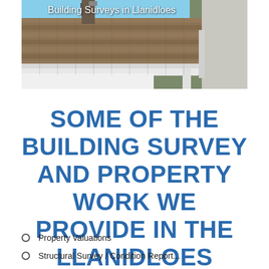[Figure (photo): Photograph of a roof with terracotta tiles, white guttering and fascia, and white rendered walls. Text overlay reads 'Building Surveys in Llanidloes'.]
SOME OF THE BUILDING SURVEY AND PROPERTY WORK WE PROVIDE IN THE LLANIDLOES AREA:
Property Valuations
Structural Survey / Condition Report...